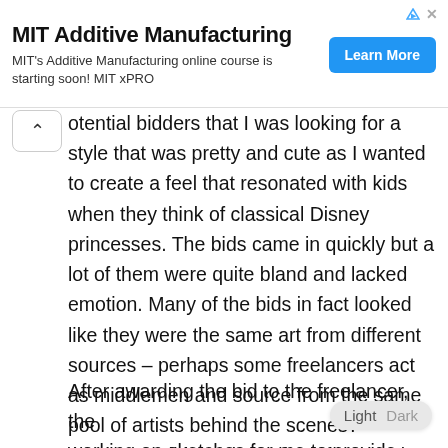[Figure (screenshot): MIT Additive Manufacturing advertisement banner with 'Learn More' button]
otential bidders that I was looking for a style that was pretty and cute as I wanted to create a feel that resonated with kids when they think of classical Disney princesses. The bids came in quickly but a lot of them were quite bland and lacked emotion. Many of the bids in fact looked like they were the same art from different sources – perhaps some freelancers act as middlemen and source from the same pool of artists behind the scenes? Anyways I did receive quite a few good bids, and ultimately went with a style that seemed playful and sweet.
After awarding the bid to the freelancer, the working on sketches for me to provide them more